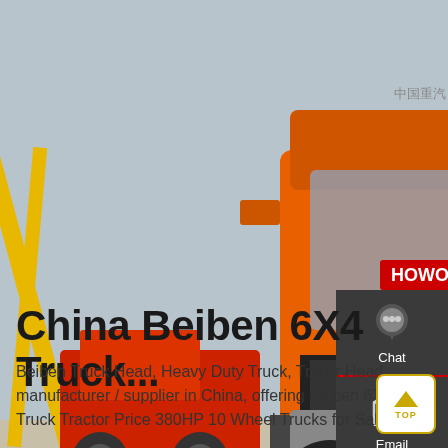[Figure (photo): Orange Beiben 6X4 heavy duty truck tractor parked in a lot with a yellow crane and red trucks in the background, grey overcast sky.]
China Beiben 6X4 Truck...
Beiben Truck Head, Heavy Duty Truck, Trailer Head manufacturer / supplier in China, offering Beiben 6X... Truck Tractor Price 380HP 10 Wheel Trucks for Sale,...